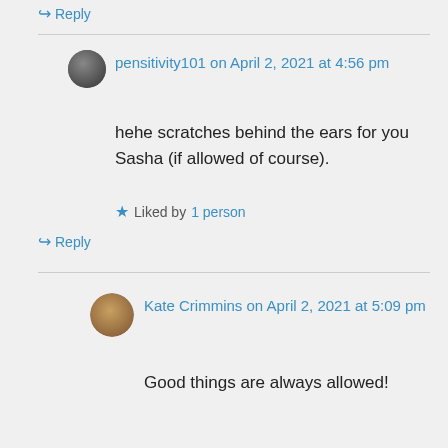↪ Reply
pensitivity101 on April 2, 2021 at 4:56 pm
hehe scratches behind the ears for you Sasha (if allowed of course).
★ Liked by 1 person
↪ Reply
Kate Crimmins on April 2, 2021 at 5:09 pm
Good things are always allowed!